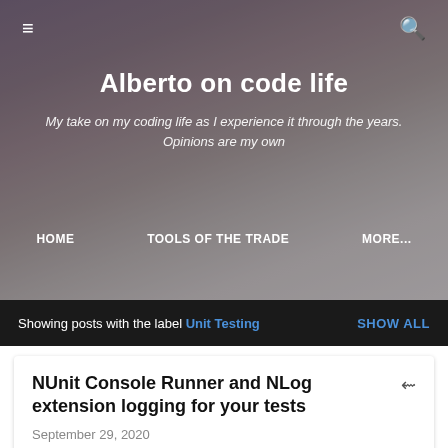[Figure (photo): Website header background image showing a muted landscape with mountains/dunes and sky in purple-gray tones]
≡  Q
Alberto on code life
My take on my coding life as I experience it through the years. Opinions are my own
HOME   TOOLS OF THE TRADE   MORE...
Showing posts with the label Unit Testing   SHOW ALL
NUnit Console Runner and NLog extension logging for your tests
September 29, 2020
Have you experienced the frustration of